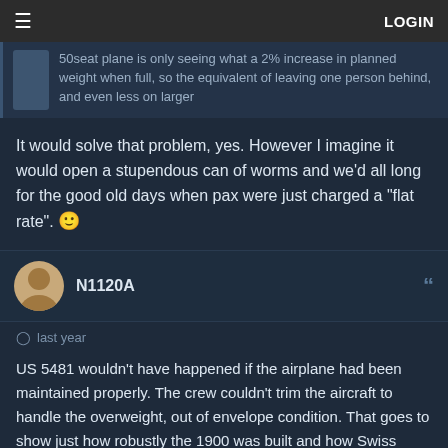≡   LOGIN
50seat plane is only seeing what a 2% increase in planned weight when full, so the equivalent of leaving one person behind, and even less on larger
It would solve that problem, yes. However I imagine it would open a stupendous can of worms and we'd all long for the good old days when pax were just charged a "flat rate". 🙂
N1120A
last year
US 5481 wouldn't have happened if the airplane had been maintained properly. The crew couldn't trim the aircraft to handle the overweight, out of envelope condition. That goes to show just how robustly the 1900 was built and how Swiss cheesed they got.
At this point, most airlines are operating their aircraft well within the range band. The most densely fitted planes, narrowbodies, are rarely operating anywhere near the limits, and long range widebodies are no anywhere near max capacity. This probably will not be a major deal.